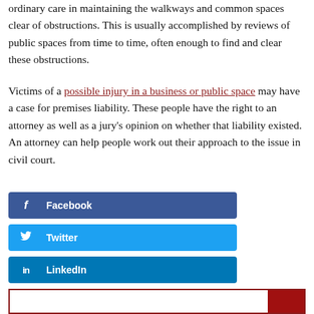ordinary care in maintaining the walkways and common spaces clear of obstructions. This is usually accomplished by reviews of public spaces from time to time, often enough to find and clear these obstructions.
Victims of a possible injury in a business or public space may have a case for premises liability. These people have the right to an attorney as well as a jury's opinion on whether that liability existed. An attorney can help people work out their approach to the issue in civil court.
[Figure (other): Facebook social share button]
[Figure (other): Twitter social share button]
[Figure (other): LinkedIn social share button]
[Figure (other): Search bar with red search button at bottom of page]